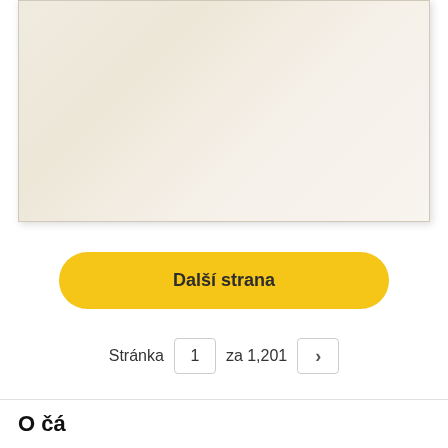[Figure (photo): Aged/vintage document page with yellowed, textured paper background]
Další strana
Stránka 1 za 1,201
O čá...